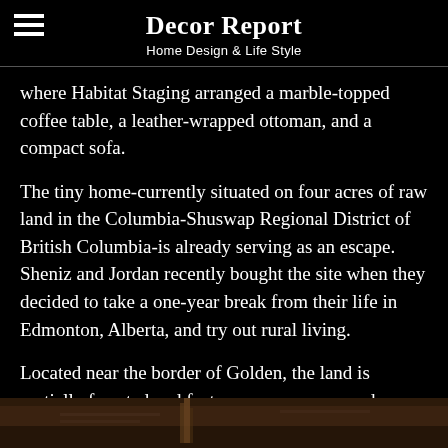Decor Report
Home Design & Life Style
where Habitat Staging arranged a marble-topped coffee table, a leather-wrapped ottoman, and a compact sofa.
The tiny home-currently situated on four acres of raw land in the Columbia-Shuswap Regional District of British Columbia-is already serving as an escape. Sheniz and Jordan recently bought the site when they decided to take a one-year break from their life in Edmonton, Alberta, and try out rural living.
Located near the border of Golden, the land is partially forested and features a one-acre meadow that the couple is transforming into a large vegetable garden and hummingbird sanctuary.
[Figure (photo): Bottom portion of a photo showing interior decor elements, partially visible at the bottom of the page]